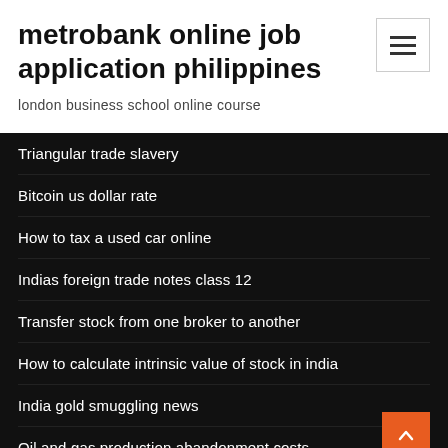metrobank online job application philippines
london business school online course
Triangular trade slavery
Bitcoin us dollar rate
How to tax a used car online
Indias foreign trade notes class 12
Transfer stock from one broker to another
How to calculate intrinsic value of stock in india
India gold smuggling news
Oil and gas production abandonment costs